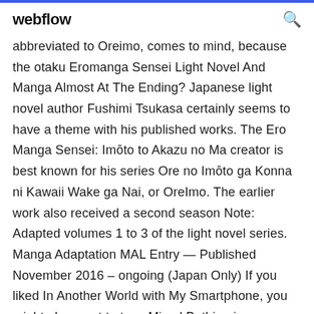webflow
abbreviated to Oreimo, comes to mind, because the otaku Eromanga Sensei Light Novel And Manga Almost At The Ending? Japanese light novel author Fushimi Tsukasa certainly seems to have a theme with his published works. The Ero Manga Sensei: Imōto to Akazu no Ma creator is best known for his series Ore no Imōto ga Konna ni Kawaii Wake ga Nai, or OreImo. The earlier work also received a second season Note: Adapted volumes 1 to 3 of the light novel series. Manga Adaptation MAL Entry — Published November 2016 – ongoing (Japan Only) If you liked In Another World with My Smartphone, you might also want to try... Mixed Bathing in an Alternate Dimension —